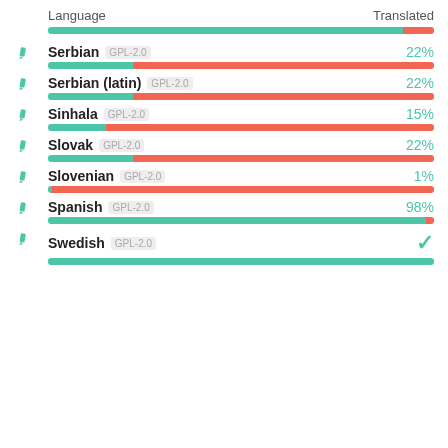| Language | Translated |
| --- | --- |
| Serbian GPL-2.0 | 22% |
| Serbian (latin) GPL-2.0 | 22% |
| Sinhala GPL-2.0 | 15% |
| Slovak GPL-2.0 | 22% |
| Slovenian GPL-2.0 | 1% |
| Spanish GPL-2.0 | 98% |
| Swedish GPL-2.0 | ✓ |